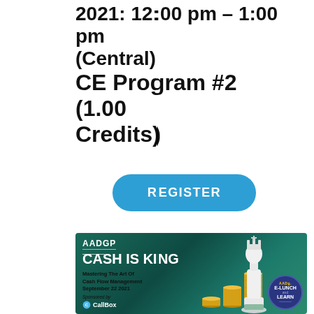2021: 12:00 pm – 1:00 pm (Central)
CE Program #2 (1.00 Credits)
REGISTER
[Figure (illustration): AADGP promotional banner for 'Cash is King – Mastering the Art of Cash Flow Management' event on September 22, 2021. Sponsored by CallBox. Features coin stacks, a chess king piece, and an E-Lunch and Learn badge. Green gradient background.]